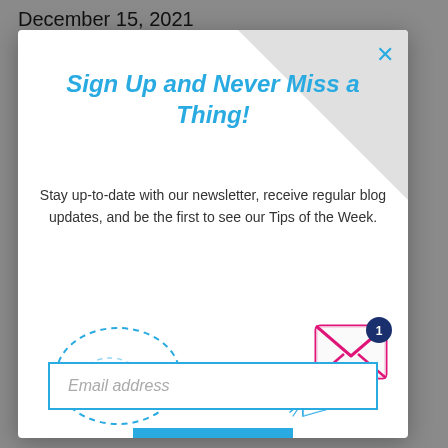December 15, 2021
Sign Up and Never Miss a Thing!
Stay up-to-date with our newsletter, receive regular blog updates, and be the first to see our Tips of the Week.
[Figure (illustration): Illustration showing a dashed speech-bubble oval outline on the left, two paper airplane icons in the center, and a pink/magenta envelope icon with a blue notification badge showing '1' on the right.]
Email address
Subscribe